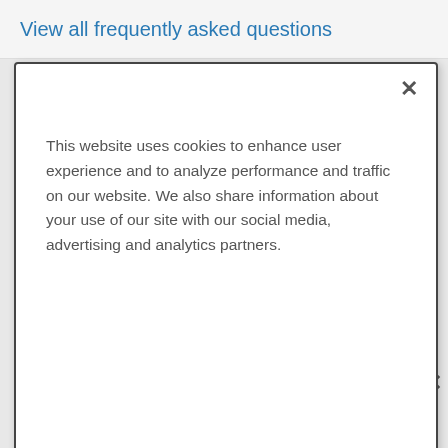View all frequently asked questions
This website uses cookies to enhance user experience and to analyze performance and traffic on our website. We also share information about your use of our site with our social media, advertising and analytics partners.
Accept Cookies
[Figure (map): Street map of Milwaukee area showing highway 41, 24, and 794, with a location marker labeled 1, map zoom controls (+/-), areas including Greenfield and Cudahy]
ADVERTISEMENT
[Figure (photo): Healthgrades advertisement banner: 5-star doctors really do exist. Find Yours Today]